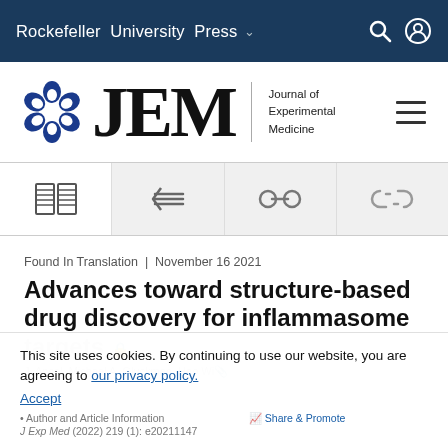Rockefeller University Press
[Figure (logo): JEM - Journal of Experimental Medicine logo with circular blue motif icon and large JEM serif letters]
[Figure (infographic): Icon toolbar row with four icons: open book, back/list, chain link (active), broken chain link]
Found In Translation | November 16 2021
Advances toward structure-based drug discovery for inflammasome targets
This site uses cookies. By continuing to use our website, you are agreeing to our privacy policy. Accept